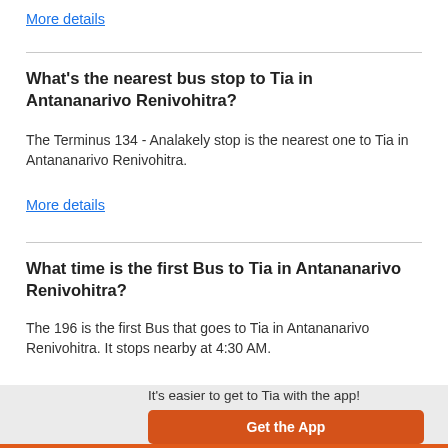More details
What's the nearest bus stop to Tia in Antananarivo Renivohitra?
The Terminus 134 - Analakely stop is the nearest one to Tia in Antananarivo Renivohitra.
More details
What time is the first Bus to Tia in Antananarivo Renivohitra?
The 196 is the first Bus that goes to Tia in Antananarivo Renivohitra. It stops nearby at 4:30 AM.
[Figure (screenshot): Moovit app screenshot showing a map with a route and the Moovit logo]
It's easier to get to Tia with the app! Get the App